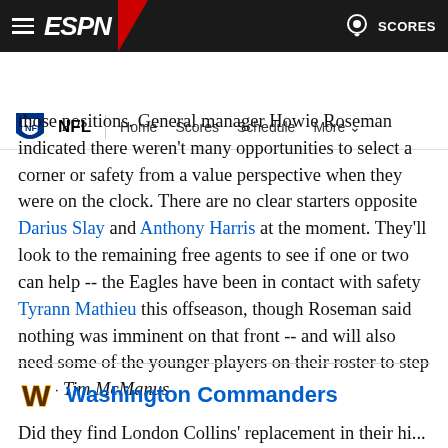ESPN - NFL | Home | Scores | Schedule | More
those positions. General manager Howie Roseman indicated there weren't many opportunities to select a corner or safety from a value perspective when they were on the clock. There are no clear starters opposite Darius Slay and Anthony Harris at the moment. They'll look to the remaining free agents to see if one or two can help -- the Eagles have been in contact with safety Tyrann Mathieu this offseason, though Roseman said nothing was imminent on that front -- and will also need some of the younger players on their roster to step up. -- Tim McManus
Washington Commanders
Did they find London Collins' replacement in their hi...